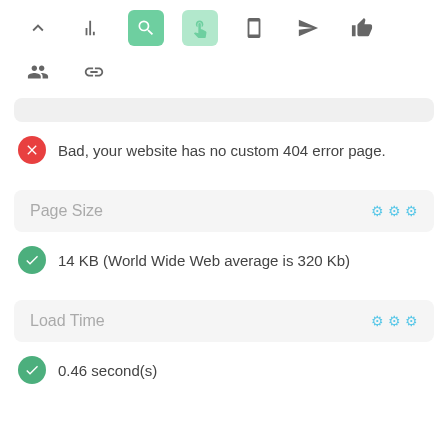[Figure (screenshot): Web UI toolbar with navigation icons including chevron up, bar chart, search (active dark green), hand/cursor (active light green), mobile, rocket/send, thumbs up icons in first row; people group and chain link icons in second row]
Bad, your website has no custom 404 error page.
Page Size
14 KB (World Wide Web average is 320 Kb)
Load Time
0.46 second(s)